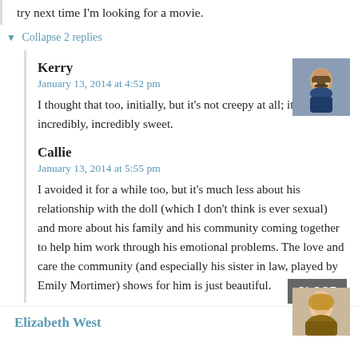try next time I'm looking for a movie.
▼ Collapse 2 replies
Kerry
January 13, 2014 at 4:52 pm
I thought that too, initially, but it's not creepy at all; it's incredibly, incredibly sweet.
Callie
January 13, 2014 at 5:55 pm
I avoided it for a while too, but it's much less about his relationship with the doll (which I don't think is ever sexual) and more about his family and his community coming together to help him work through his emotional problems. The love and care the community (and especially his sister in law, played by Emily Mortimer) shows for him is just beautiful.
Elizabeth West